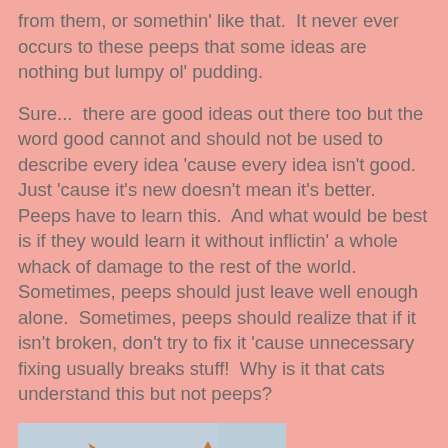from them, or somethin' like that.  It never ever occurs to these peeps that some ideas are nothing but lumpy ol' pudding.
Sure...  there are good ideas out there too but the word good cannot and should not be used to describe every idea 'cause every idea isn't good.  Just 'cause it's new doesn't mean it's better.  Peeps have to learn this.  And what would be best is if they would learn it without inflictin' a whole whack of damage to the rest of the world.  Sometimes, peeps should just leave well enough alone.  Sometimes, peeps should realize that if it isn't broken, don't try to fix it 'cause unnecessary fixing usually breaks stuff!  Why is it that cats understand this but not peeps?
[Figure (photo): Photo of an orange/ginger long-haired cat looking slightly to the left, with a window and dark background visible behind it]